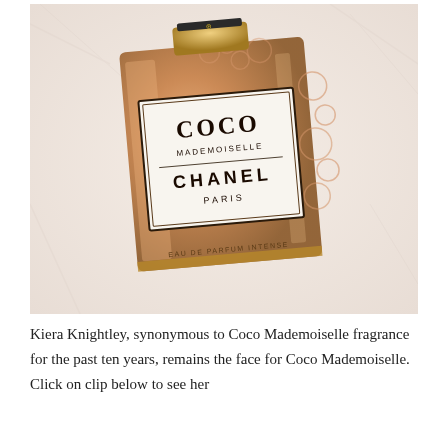[Figure (photo): A Chanel Coco Mademoiselle Eau de Parfum Intense perfume bottle photographed on a white fluffy background. The square amber/orange glass bottle has a gold cap with Chanel logo, and a white label reading COCO MADEMOISELLE CHANEL PARIS, with EAU DE PARFUM INTENSE engraved at the bottom.]
Kiera Knightley, synonymous to Coco Mademoiselle fragrance for the past ten years, remains the face for Coco Mademoiselle. Click on clip below to see her